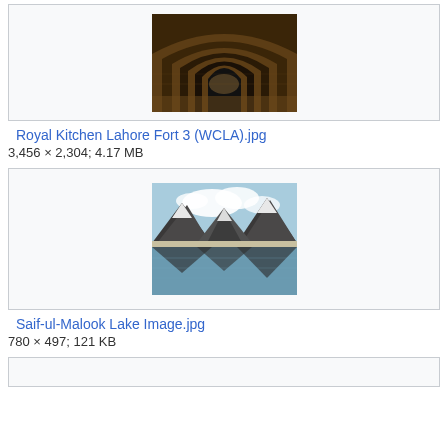[Figure (photo): Interior of Royal Kitchen Lahore Fort showing brick arched corridors receding into darkness]
Royal Kitchen Lahore Fort 3 (WCLA).jpg
3,456 × 2,304; 4.17 MB
[Figure (photo): Saif-ul-Malook lake with snow-capped mountains reflecting in still water under cloudy sky]
Saif-ul-Malook Lake Image.jpg
780 × 497; 121 KB